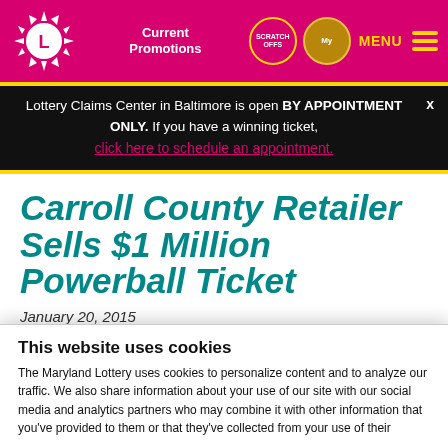[Figure (logo): Maryland Lottery sunburst logo with L in center, white on pink background]
Current Promotions | SCRATCH OFFS | My Rewards | MENU
Lottery Claims Center in Baltimore is open BY APPOINTMENT ONLY. If you have a winning ticket, click here to schedule an appointment. x
Carroll County Retailer Sells $1 Million Powerball Ticket
January 20, 2015
Seven states have second-tier winners
This website uses cookies
The Maryland Lottery uses cookies to personalize content and to analyze our traffic. We also share information about your use of our site with our social media and analytics partners who may combine it with other information that you've provided to them or that they've collected from your use of their